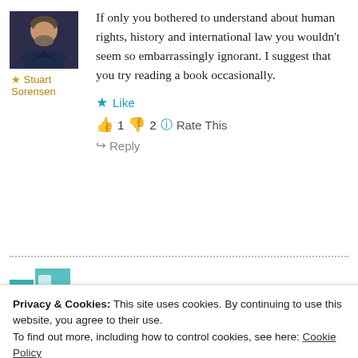[Figure (photo): Avatar photo of a man with beard in dark shirt]
★ Stuart Sorensen
If only you bothered to understand about human rights, history and international law you wouldn't seem so embarrassingly ignorant. I suggest that you try reading a book occasionally.
★ Like
👍 1 👎 2 ℹ Rate This
↪ Reply
2 Jun 2013 at 12:11 am
Privacy & Cookies: This site uses cookies. By continuing to use this website, you agree to their use.
To find out more, including how to control cookies, see here: Cookie Policy
Close and accept